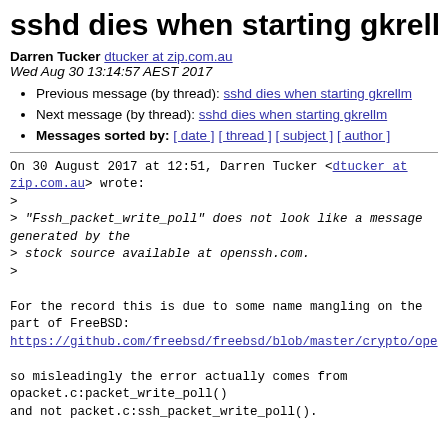sshd dies when starting gkrellm
Darren Tucker dtucker at zip.com.au
Wed Aug 30 13:14:57 AEST 2017
Previous message (by thread): sshd dies when starting gkrellm
Next message (by thread): sshd dies when starting gkrellm
Messages sorted by: [ date ] [ thread ] [ subject ] [ author ]
On 30 August 2017 at 12:51, Darren Tucker <dtucker at zip.com.au> wrote:
>
> "Fssh_packet_write_poll" does not look like a message generated by the
> stock source available at openssh.com.
>

For the record this is due to some name mangling on the part of FreeBSD:
https://github.com/freebsd/freebsd/blob/master/crypto/ope

so misleadingly the error actually comes from
opacket.c:packet_write_poll()
and not packet.c:ssh_packet_write_poll().